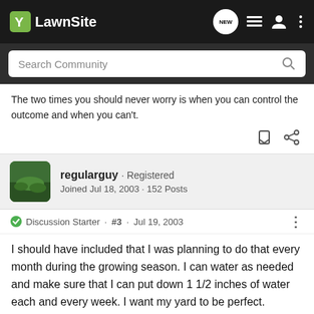LawnSite
The two times you should never worry is when you can control the outcome and when you can't.
regularguy · Registered
Joined Jul 18, 2003 · 152 Posts
Discussion Starter · #3 · Jul 19, 2003
I should have included that I was planning to do that every month during the growing season. I can water as needed and make sure that I can put down 1 1/2 inches of water each and every week. I want my yard to be perfect. Thanks